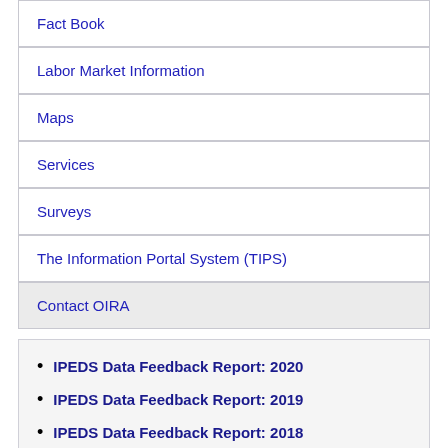Fact Book
Labor Market Information
Maps
Services
Surveys
The Information Portal System (TIPS)
Contact OIRA
IPEDS Data Feedback Report: 2020
IPEDS Data Feedback Report: 2019
IPEDS Data Feedback Report: 2018